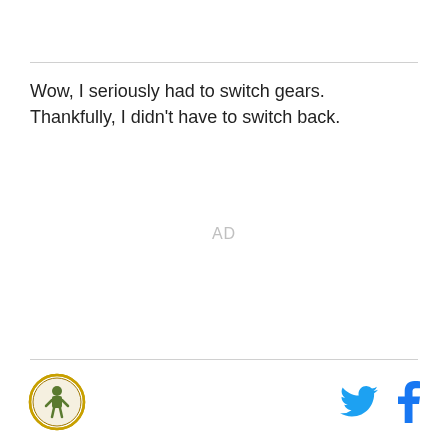Wow, I seriously had to switch gears.  Thankfully, I didn't have to switch back.
AD
[Figure (logo): Small circular logo with an illustrated figure, possibly a sports or media brand logo]
[Figure (logo): Twitter bird icon in blue]
[Figure (logo): Facebook 'f' icon in blue]